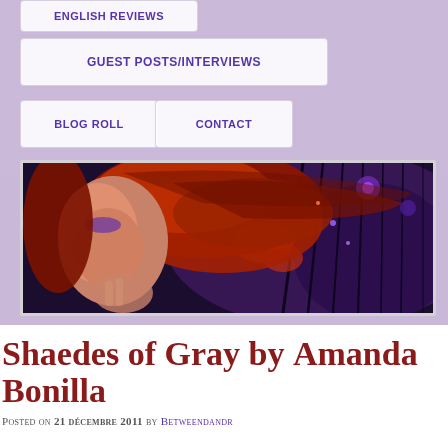ENGLISH REVIEWS
GUEST POSTS/INTERVIEWS
BLOG ROLL
CONTACT
[Figure (photo): A woman with flowing red hair against a dark purple/violet fantasy background with orange and purple glowing elements]
Shaedes of Gray by Amanda Bonilla
Posted on 21 décembre 2011 by Betweendandr